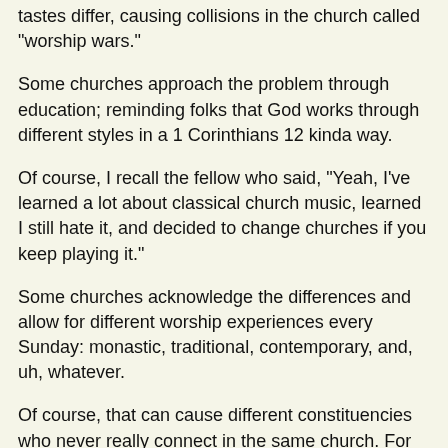tastes differ, causing collisions in the church called "worship wars."
Some churches approach the problem through education; reminding folks that God works through different styles in a 1 Corinthians 12 kinda way.
Of course, I recall the fellow who said, "Yeah, I've learned a lot about classical church music, learned I still hate it, and decided to change churches if you keep playing it."
Some churches acknowledge the differences and allow for different worship experiences every Sunday: monastic, traditional, contemporary, and, uh, whatever.
Of course, that can cause different constituencies who never really connect in the same church. For example, we had a great joint worship service last week for our annual chancel choir cantata with pretty good attendance and we're going to have a great joint worship service this week for our annual children's program and expect really great attendance; but at least half of our 7:30 regulars, about a quarter of our 8:30 regulars, and over half of our 10:30 regulars did not adjust